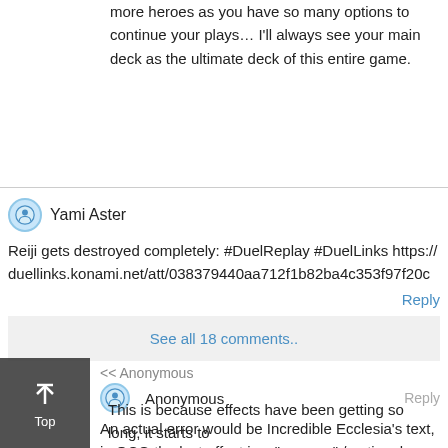more heroes as you have so many options to continue your plays… I'll always see your main deck as the ultimate deck of this entire game.
Yami Aster
Reiji gets destroyed completely: #DuelReplay #DuelLinks https://duellinks.konami.net/att/038379440aa712f1b82ba4c353f97f20c
Reply
See all 18 comments..
<< Anonymous
Anonymous
Reply
An actual error would be Incredible Ecclesia's text, in OCG the last effect is a "you can" / optional effect, but in TCG it sounds mandatory.
This is because effects have been getting so long, it starts to